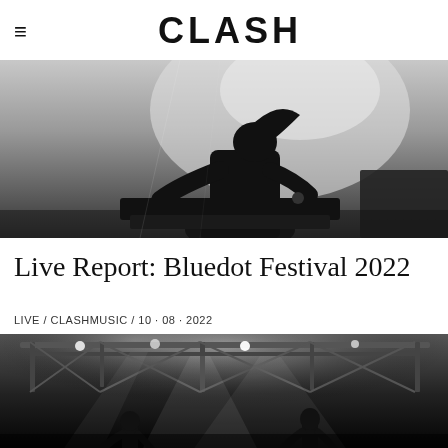≡  CLASH
[Figure (photo): Black and white photo of a performer silhouetted against light background, leaning over DJ/keyboard equipment on stage]
Live Report: Bluedot Festival 2022
LIVE / CLASHMUSIC / 10 · 08 · 2022
[Figure (photo): Black and white concert photo showing performers on stage with dramatic lighting rigs and spotlights overhead, truss structures visible]